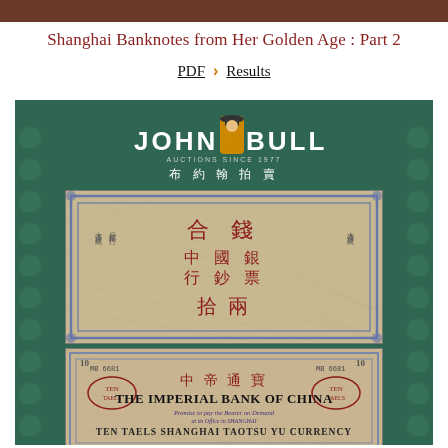Shanghai Banknotes from Her Golden Age : Part 2
PDF  >  Results
[Figure (photo): John Bull Auctions logo on dark green background with two Chinese banknotes below: the upper is a Chinese text note with red characters on a beige cross-hatched background with blue border, and the lower is a The Imperial Bank of China note reading TEN TAELS SHANGHIA TAOTSU YU CURRENCY with serial number MB6681.]